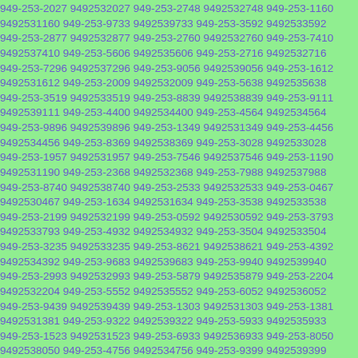9492531160 949-253-9733 9492539733 949-253-3592 9492533592 949-253-2877 9492532877 949-253-2760 9492532760 949-253-7410 9492537410 949-253-5606 9492535606 949-253-2716 9492532716 949-253-7296 9492537296 949-253-9056 9492539056 949-253-1612 9492531612 949-253-2009 9492532009 949-253-5638 9492535638 949-253-3519 9492533519 949-253-8839 9492538839 949-253-9111 9492539111 949-253-4400 9492534400 949-253-4564 9492534564 949-253-9896 9492539896 949-253-1349 9492531349 949-253-4456 9492534456 949-253-8369 9492538369 949-253-3028 9492533028 949-253-1957 9492531957 949-253-7546 9492537546 949-253-1190 9492531190 949-253-2368 9492532368 949-253-7988 9492537988 949-253-8740 9492538740 949-253-2533 9492532533 949-253-0467 9492530467 949-253-1634 9492531634 949-253-3538 9492533538 949-253-2199 9492532199 949-253-0592 9492530592 949-253-3793 9492533793 949-253-4932 9492534932 949-253-3504 9492533504 949-253-3235 9492533235 949-253-8621 9492538621 949-253-4392 9492534392 949-253-9683 9492539683 949-253-9940 9492539940 949-253-2993 9492532993 949-253-5879 9492535879 949-253-2204 9492532204 949-253-5552 9492535552 949-253-6052 9492536052 949-253-9439 9492539439 949-253-1303 9492531303 949-253-1381 9492531381 949-253-9322 9492539322 949-253-5933 9492535933 949-253-1523 9492531523 949-253-6933 9492536933 949-253-8050 9492538050 949-253-4756 9492534756 949-253-9399 9492539399 949-253-3885 9492533885 949-253-9037 9492539037 949-253-0811 9492530811 949-253-2688 9492532688 949-253-0365 9492530365